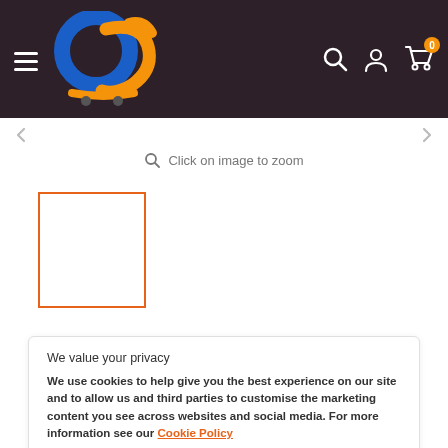[Figure (logo): E-commerce website header with logo (blue and orange interlocked circles with orange cart/swoosh), hamburger menu icon, search icon, user icon, and cart icon with badge showing 0]
Click on image to zoom
[Figure (other): Orange-bordered empty thumbnail/image placeholder box]
We value your privacy
We use cookies to help give you the best experience on our site and to allow us and third parties to customise the marketing content you see across websites and social media. For more information see our Cookie Policy
Accept